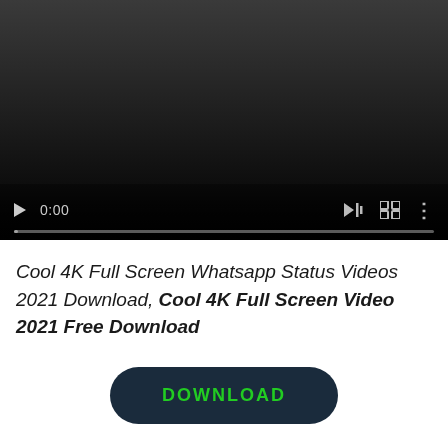[Figure (screenshot): A video player in dark/black theme showing a paused video at 0:00 with controls including play button, timestamp, volume icon, fullscreen icon, and options icon, plus a progress bar at the bottom.]
Cool 4K Full Screen Whatsapp Status Videos 2021 Download, Cool 4K Full Screen Video 2021 Free Download
[Figure (other): A dark navy rounded rectangle download button with green uppercase text reading DOWNLOAD]